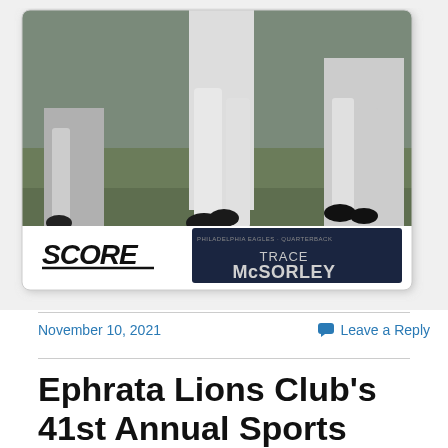[Figure (photo): A sports trading card (Score brand) showing a football player running on a field. The bottom of the card has the 'SCORE' logo on the left side and player name 'TRACE McSORLEY' on the right in a dark navy panel.]
November 10, 2021
Leave a Reply
Ephrata Lions Club's 41st Annual Sports Card Show &